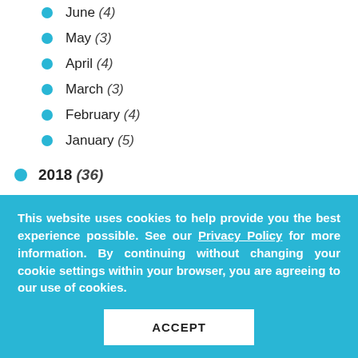June (4)
May (3)
April (4)
March (3)
February (4)
January (5)
2018 (36)
December (4)
November (3)
October (3)
This website uses cookies to help provide you the best experience possible. See our Privacy Policy for more information. By continuing without changing your cookie settings within your browser, you are agreeing to our use of cookies.